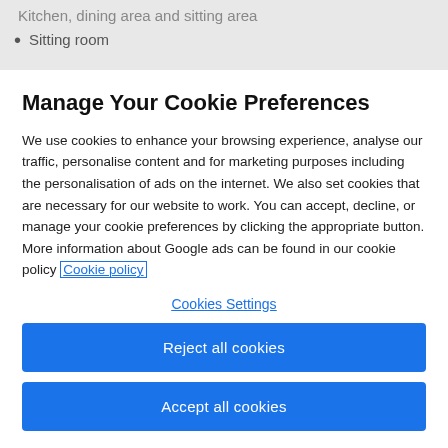Kitchen, dining area and sitting area
Sitting room
Manage Your Cookie Preferences
We use cookies to enhance your browsing experience, analyse our traffic, personalise content and for marketing purposes including the personalisation of ads on the internet. We also set cookies that are necessary for our website to work. You can accept, decline, or manage your cookie preferences by clicking the appropriate button. More information about Google ads can be found in our cookie policy Cookie policy
Cookies Settings
Reject all cookies
Accept all cookies